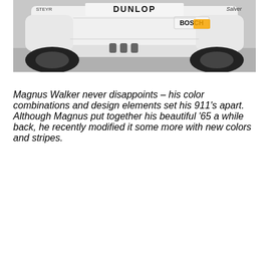[Figure (photo): Rear view of a white racing Porsche 911 with Dunlop and Bosch sponsor logos, wide body kit and large rear tires, parked on a concrete surface.]
Magnus Walker never disappoints – his color combinations and design elements set his 911's apart. Although Magnus put together his beautiful '65 a while back, he recently modified it some more with new colors and stripes.